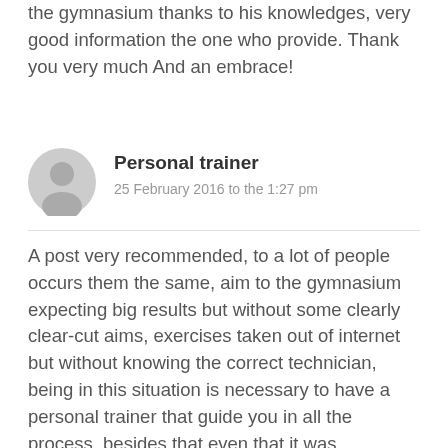the gymnasium thanks to his knowledges, very good information the one who provide. Thank you very much And an embrace!
[Figure (illustration): Grey circular user avatar icon with silhouette of a person]
Personal trainer
25 February 2016 to the 1:27 pm
A post very recommended, to a lot of people occurs them the same, aim to the gymnasium expecting big results but without some clearly clear-cut aims, exercises taken out of internet but without knowing the correct technician, being in this situation is necessary to have a personal trainer that guide you in all the process, besides that even that it was necessary to pay something more, afterwards appreciates definitely.